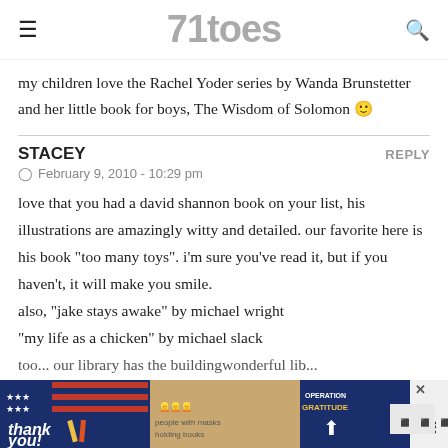71toes
my children love the Rachel Yoder series by Wanda Brunstetter and her little book for boys, The Wisdom of Solomon 🙂
STACEY
February 9, 2010 - 10:29 pm
love that you had a david shannon book on your list, his illustrations are amazingly witty and detailed. our favorite here is his book "too many toys". i'm sure you've read it, but if you haven't, it will make you smile.
also, "jake stays awake" by michael wright
"my life as a chicken" by michael slack
too... our library has the buildingwonderful lib...
[Figure (screenshot): Advertisement banner showing 'Thank you!' with American flag theme and 'OPERATION GRATITUDE' with people in masks holding books]